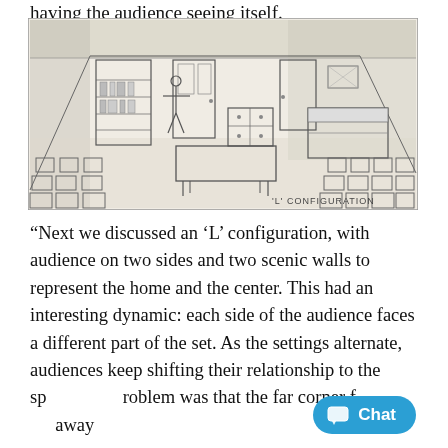having the audience seeing itself.
[Figure (illustration): Pencil sketch of an 'L' configuration theater/room setup showing audience chairs arranged on two sides (L-shape), with scenic set elements including a bookcase, a standing figure, a table, chairs, a bed, and a door visible in the background. Label 'L' CONFIGURATION written in the bottom right corner of the sketch.]
“Next we discussed an ‘L’ configuration, with audience on two sides and two scenic walls to represent the home and the center. This had an interesting dynamic: each side of the audience faces a different part of the set. As the settings alternate, audiences keep shifting their relationship to the sproblem was that the far corner f away